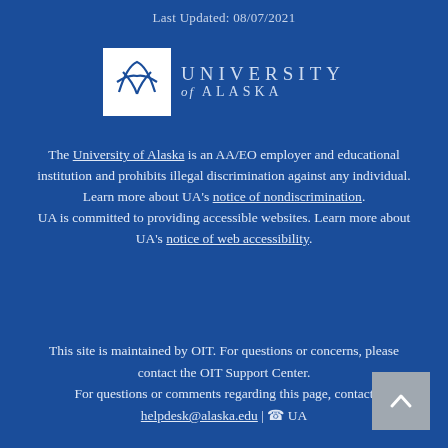Last Updated: 08/07/2021
[Figure (logo): University of Alaska logo with stylized globe/swoosh mark in white box and text 'UNIVERSITY of ALASKA']
The University of Alaska is an AA/EO employer and educational institution and prohibits illegal discrimination against any individual. Learn more about UA's notice of nondiscrimination. UA is committed to providing accessible websites. Learn more about UA's notice of web accessibility.
This site is maintained by OIT. For questions or concerns, please contact the OIT Support Center. For questions or comments regarding this page, contact helpdesk@alaska.edu | ☎ UA